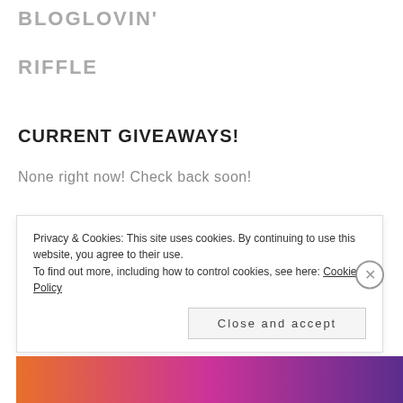BLOGLOVIN'
RIFFLE
CURRENT GIVEAWAYS!
None right now! Check back soon!
Privacy & Cookies: This site uses cookies. By continuing to use this website, you agree to their use.
To find out more, including how to control cookies, see here: Cookie Policy
Close and accept